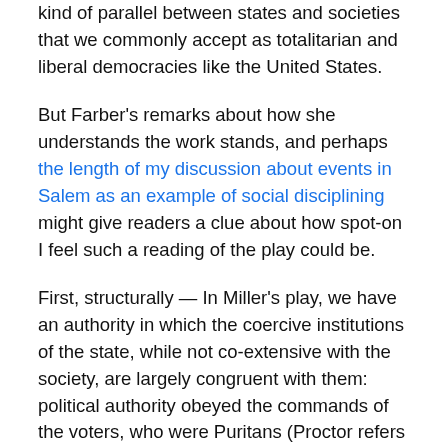kind of parallel between states and societies that we commonly accept as totalitarian and liberal democracies like the United States.
But Farber's remarks about how she understands the work stands, and perhaps the length of my discussion about events in Salem as an example of social disciplining might give readers a clue about how spot-on I feel such a reading of the play could be.
First, structurally — In Miller's play, we have an authority in which the coercive institutions of the state, while not co-extensive with the society, are largely congruent with them: political authority obeyed the commands of the voters, who were Puritans (Proctor refers to this relationship in the first scene). The state and the church, which constituted the society, are largely coterminous (we